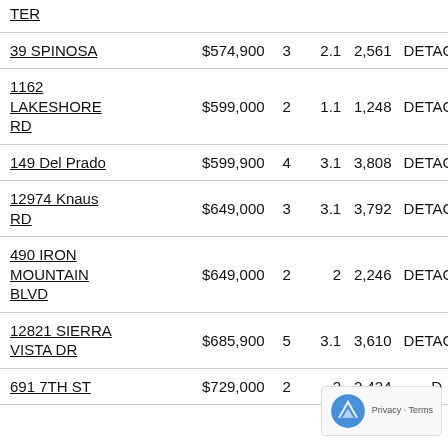| Address | Price | Beds | Baths | SqFt | Type |
| --- | --- | --- | --- | --- | --- |
| TER |  |  |  |  |  |
| 39 SPINOSA | $574,900 | 3 | 2.1 | 2,561 | DETACHD |
| 1162 LAKESHORE RD | $599,000 | 2 | 1.1 | 1,248 | DETACHD |
| 149 Del Prado | $599,900 | 4 | 3.1 | 3,808 | DETACHD |
| 12974 Knaus RD | $649,000 | 3 | 3.1 | 3,792 | DETACHD |
| 490 IRON MOUNTAIN BLVD | $649,000 | 2 | 2 | 2,246 | DETACHD |
| 12821 SIERRA VISTA DR | $685,900 | 5 | 3.1 | 3,610 | DETACHD |
| 691 7TH ST | $729,000 | 2 | 2 | 2,424 | D |